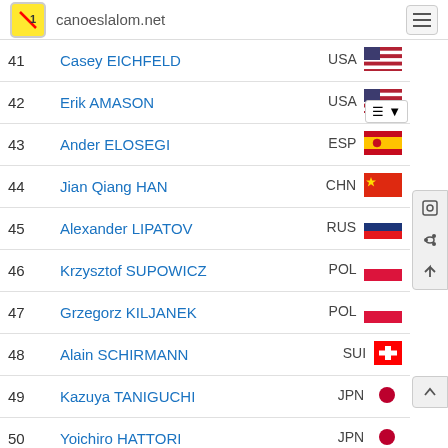canoeslalom.net
| # | Name | Country |
| --- | --- | --- |
| 41 | Casey EICHFELD | USA |
| 42 | Erik AMASON | USA |
| 43 | Ander ELOSEGI | ESP |
| 44 | Jian Qiang HAN | CHN |
| 45 | Alexander LIPATOV | RUS |
| 46 | Krzysztof SUPOWICZ | POL |
| 47 | Grzegorz KILJANEK | POL |
| 48 | Alain SCHIRMANN | SUI |
| 49 | Kazuya TANIGUCHI | JPN |
| 50 | Yoichiro HATTORI | JPN |